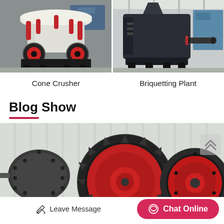[Figure (photo): Cone Crusher machine in industrial setting, red and white, black frame]
[Figure (photo): Briquetting Plant machine in factory, dark gray/blue, industrial setting]
Cone Crusher
Briquetting Plant
Blog Show
[Figure (photo): Large industrial gear/mill machinery with red and black gears in factory]
Leave Message
Chat Online